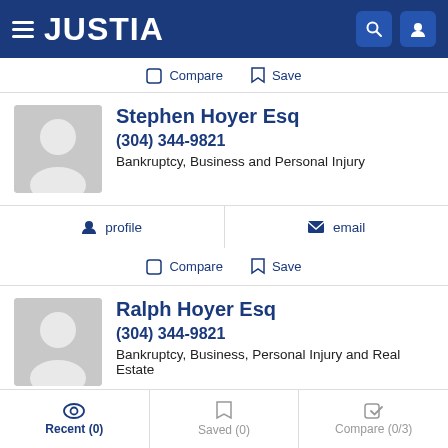JUSTIA
Compare  Save
Stephen Hoyer Esq
(304) 344-9821
Bankruptcy, Business and Personal Injury
profile   email
Compare  Save
Ralph Hoyer Esq
(304) 344-9821
Bankruptcy, Business, Personal Injury and Real Estate
profile   email
Recent (0)  Saved (0)  Compare (0/3)